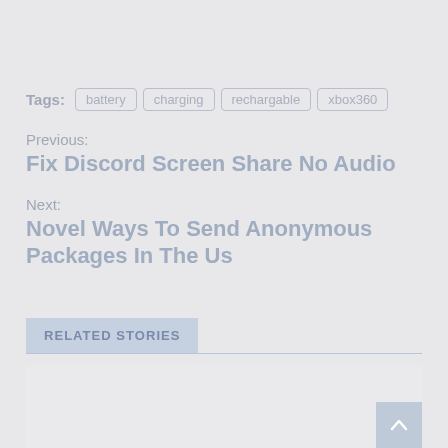Tags: battery charging rechargable xbox360
Previous:
Fix Discord Screen Share No Audio
Next:
Novel Ways To Send Anonymous Packages In The Us
RELATED STORIES